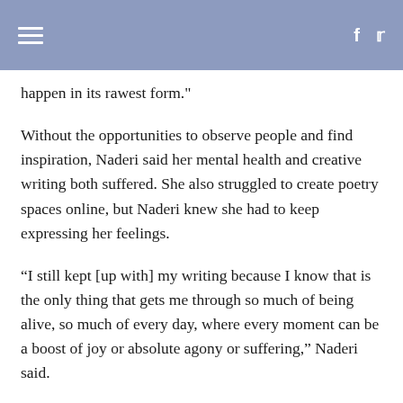happen in its rawest form."
Without the opportunities to observe people and find inspiration, Naderi said her mental health and creative writing both suffered. She also struggled to create poetry spaces online, but Naderi knew she had to keep expressing her feelings.
“I still kept [up with] my writing because I know that is the only thing that gets me through so much of being alive, so much of every day, where every moment can be a boost of joy or absolute agony or suffering,” Naderi said.